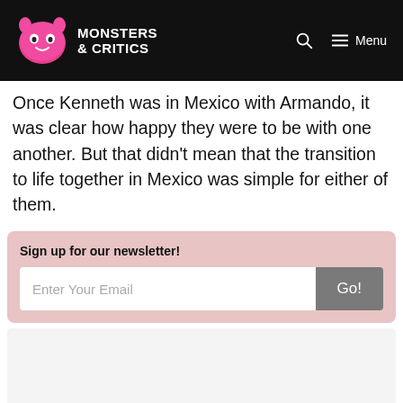Monsters & Critics
Once Kenneth was in Mexico with Armando, it was clear how happy they were to be with one another. But that didn't mean that the transition to life together in Mexico was simple for either of them.
Sign up for our newsletter!
[Figure (other): Newsletter sign-up box with email input field and Go! button]